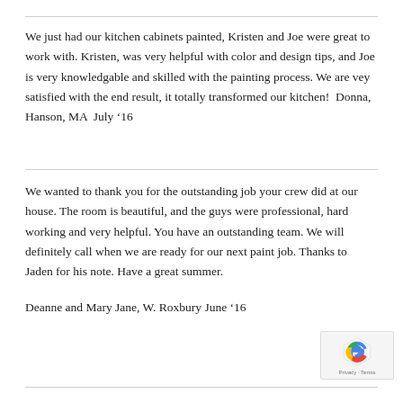We just had our kitchen cabinets painted, Kristen and Joe were great to work with. Kristen, was very helpful with color and design tips, and Joe is very knowledgable and skilled with the painting process. We are vey satisfied with the end result, it totally transformed our kitchen!  Donna, Hanson, MA  July '16
We wanted to thank you for the outstanding job your crew did at our house. The room is beautiful, and the guys were professional, hard working and very helpful. You have an outstanding team. We will definitely call when we are ready for our next paint job. Thanks to Jaden for his note. Have a great summer.

Deanne and Mary Jane, W. Roxbury June '16